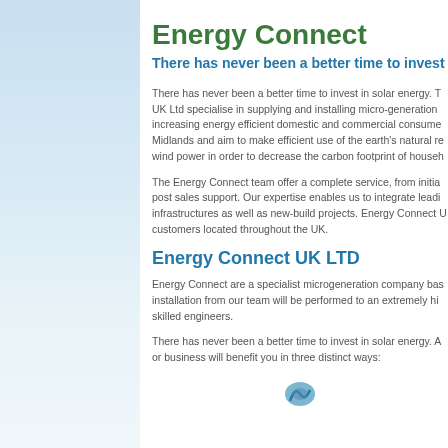Energy Connect
There has never been a better time to invest
There has never been a better time to invest in solar energy. T... UK Ltd specialise in supplying and installing micro-generation increasing energy efficient domestic and commercial consume... Midlands and aim to make efficient use of the earth's natural r... wind power in order to decrease the carbon footprint of househ...
The Energy Connect team offer a complete service, from initia... post sales support. Our expertise enables us to integrate leadi... infrastructures as well as new-build projects. Energy Connect ... customers located throughout the UK.
Energy Connect UK LTD
Energy Connect are a specialist microgeneration company bas... installation from our team will be performed to an extremely hi... skilled engineers.
There has never been a better time to invest in solar energy. A... or business will benefit you in three distinct ways:
[Figure (logo): Partial logo icon visible at bottom center of page]